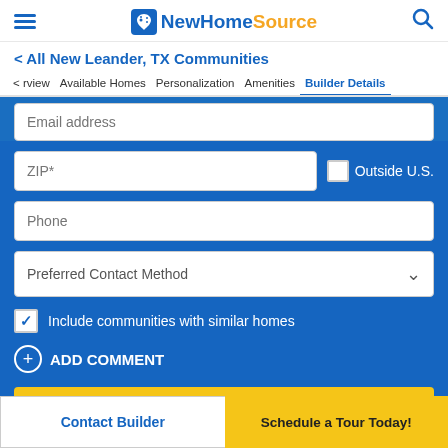NewHomeSource
< All New Leander, TX Communities
Overview  Available Homes  Personalization  Amenities  Builder Details
Email address
ZIP*
Outside U.S.
Phone
Preferred Contact Method
Include communities with similar homes
ADD COMMENT
Send Message to Builder →
Contact Builder
Schedule a Tour Today!